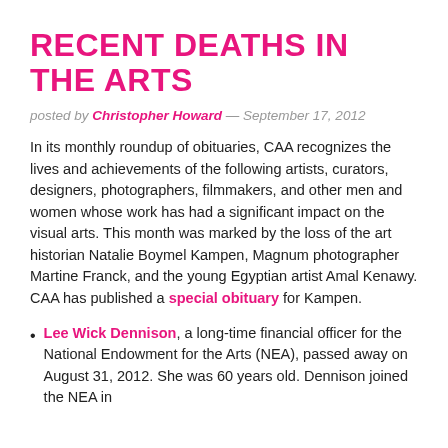RECENT DEATHS IN THE ARTS
posted by Christopher Howard — September 17, 2012
In its monthly roundup of obituaries, CAA recognizes the lives and achievements of the following artists, curators, designers, photographers, filmmakers, and other men and women whose work has had a significant impact on the visual arts. This month was marked by the loss of the art historian Natalie Boymel Kampen, Magnum photographer Martine Franck, and the young Egyptian artist Amal Kenawy. CAA has published a special obituary for Kampen.
Lee Wick Dennison, a long-time financial officer for the National Endowment for the Arts (NEA), passed away on August 31, 2012. She was 60 years old. Dennison joined the NEA in